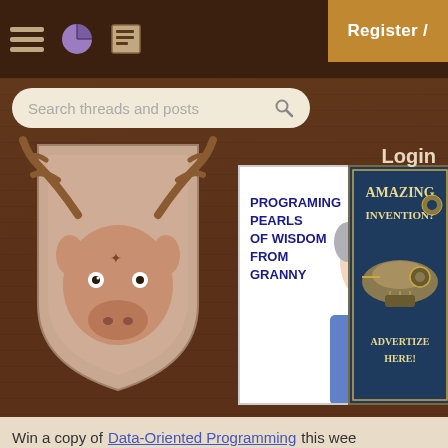Navigation bar with hamburger, pie icon, news icon, Register / Login buttons
[Figure (screenshot): Search bar reading 'Search threads and posts' with magnifying glass icon]
[Figure (illustration): Moose head mascot logo illustration on wooden background]
[Figure (illustration): Granny ad: 'Programing Pearls of Wisdom from Granny' with cartoon grandmother illustration]
[Figure (illustration): Amazing Invention? Advertize Here! vintage steampunk advertisement in blue]
Login
Win a copy of Data-Oriented Programming this wee
Boost the thread "Unable to locate jaxb.pr
Boost now and gain more exposure!